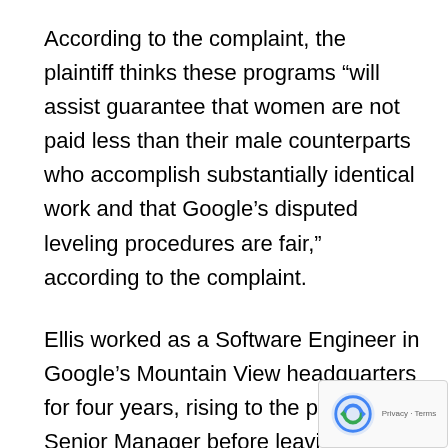According to the complaint, the plaintiff thinks these programs “will assist guarantee that women are not paid less than their male counterparts who accomplish substantially identical work and that Google’s disputed leveling procedures are fair,” according to the complaint.
Ellis worked as a Software Engineer in Google’s Mountain View headquarters for four years, rising to the position of Senior Manager before leaving.
Wisuri worked for around 2.5 years at its Mountain View headquarters in different